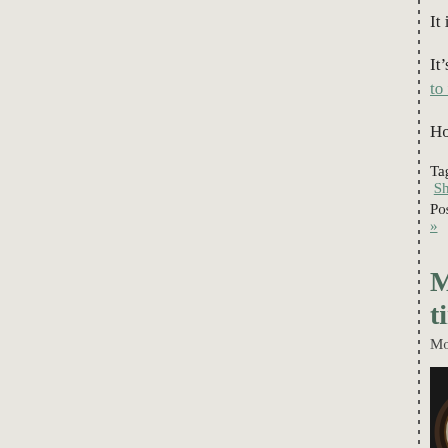It is called “Shoulder” and is part of my story Dialogues.
It’s available for reading, and just click any[where] to read it.
Hope you like, and thanks for dropping by. – W
Tags: Intimate Dialogues , short story by [?] , Shoulder , The Cortland Review
Posted in Writing (extracts from longer wo[rks]) »
My blogs & stories—the great ti[me changes] time changes things
Monday, February 6th, 2012
[Figure (photo): A collection of old clocks piled together, showing various clock faces with roman numerals, photographed in moody dark lighting.]